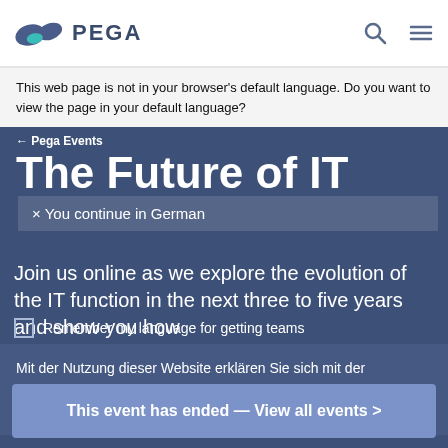PEGA
This web page is not in your browser's default language. Do you want to view the page in your default language?
← Pega Events
The Future of IT
× You continue in German
Join us online as we explore the evolution of the IT function in the next three to five years and show you how
Remember my language for getting teams
Mit der Nutzung dieser Website erklären Sie sich mit der Verwendung von Cookies einverstanden.
Lesen Sie unsere Datenschutzerklärung
This event has ended — View all events >